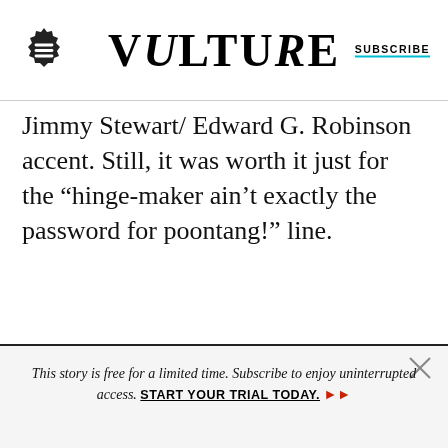Vulture | Subscribe
Jimmy Stewart/Edward G. Robinson accent. Still, it was worth it just for the “hinge-maker ain’t exactly the password for poontang!” line.
This story is free for a limited time. Subscribe to enjoy uninterrupted access. START YOUR TRIAL TODAY.